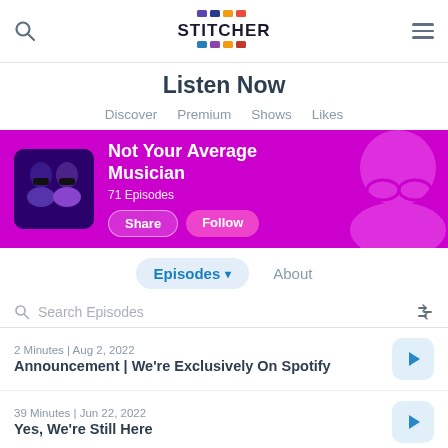Stitcher - Listen Now
Listen Now
Discover   Premium   Shows   Likes
[Figure (screenshot): Not Your Average Musician podcast banner on Stitcher with purple background, podcast artwork, title, 71 Episodes, Share and Follow buttons]
Episodes ▾   About
Search Episodes
2 Minutes | Aug 2, 2022
Announcement | We're Exclusively On Spotify
39 Minutes | Jun 22, 2022
Yes, We're Still Here